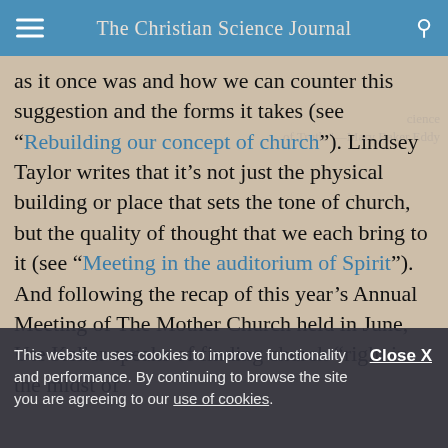The Christian Science Journal
as it once was and how we can counter this suggestion and the forms it takes (see “Rebuilding our concept of church”). Lindsey Taylor writes that it’s not just the physical building or place that sets the tone of church, but the quality of thought that we each bring to it (see “Meeting in the auditorium of Spirit”). And following the recap of this year’s Annual Meeting of The Mother Church held in June, Ute Keller speaks of finding church “right in the midst of
This website uses cookies to improve functionality and performance. By continuing to browse the site you are agreeing to our use of cookies.